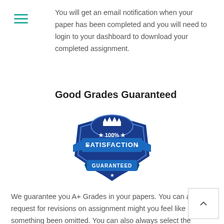[Figure (other): Hamburger menu icon with three teal horizontal lines]
You will get an email notification when your paper has been completed and you will need to login to your dashboard to download your completed assignment.
Good Grades Guaranteed
[Figure (illustration): Blue shield badge with '100% SATISFACTION GUARANTEED' text and a crown icon at top and star at bottom]
We guarantee you A+ Grades in your papers. You can always request for revisions on assignment might you feel like something been omitted. You can also always select the